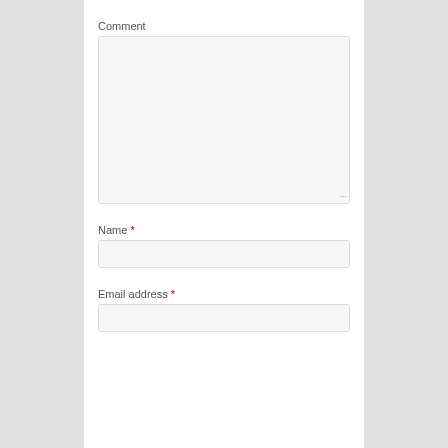Comment
[Figure (screenshot): Large empty textarea input field with resize handle at bottom right]
Name *
[Figure (screenshot): Single-line text input field for name]
Email address *
[Figure (screenshot): Single-line text input field for email address (partially visible)]